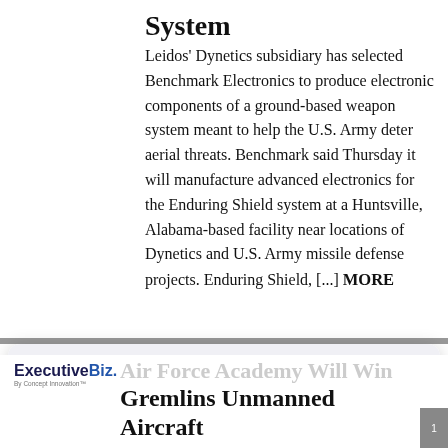System
Leidos' Dynetics subsidiary has selected Benchmark Electronics to produce electronic components of a ground-based weapon system meant to help the U.S. Army deter aerial threats. Benchmark said Thursday it will manufacture advanced electronics for the Enduring Shield system at a Huntsville, Alabama-based facility near locations of Dynetics and U.S. Army missile defense projects. Enduring Shield, [...] MORE
[Figure (logo): ExecutiveBiz logo with tagline 'By Concept Innovation']
We use cookies to offer you a better browsing experience, analyze site traffic, personalize content, and serve targeted advertisements. Read about how we use cookies and how you can control them on our Privacy Policy. If you continue to use this site, you consent to our use of cookies.
Air Force Academy Will Win Gremlins Unmanned Aircraft